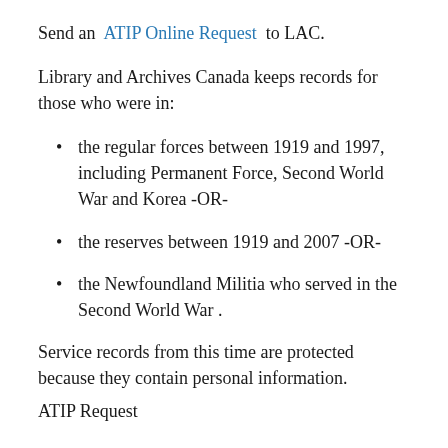Send an ATIP Online Request to LAC.
Library and Archives Canada keeps records for those who were in:
the regular forces between 1919 and 1997, including Permanent Force, Second World War and Korea -OR-
the reserves between 1919 and 2007 -OR-
the Newfoundland Militia who served in the Second World War .
Service records from this time are protected because they contain personal information.
ATIP Request